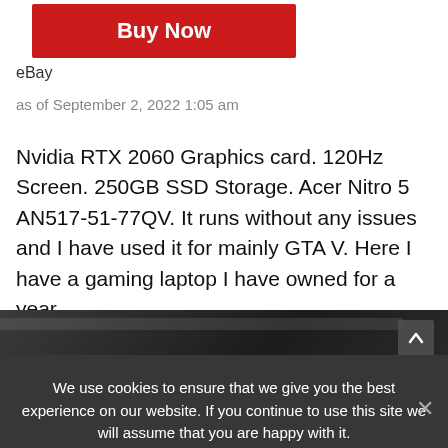[Figure (screenshot): Red 'Buy Now' button on an eBay product listing page]
eBay
as of September 2, 2022 1:05 am
Nvidia RTX 2060 Graphics card. 120Hz Screen. 250GB SSD Storage. Acer Nitro 5 AN517-51-77QV. It runs without any issues and I have used it for mainly GTA V. Here I have a gaming laptop I have owned for a year.
[Figure (photo): Partial photo of a laptop, dark background, mostly cropped]
We use cookies to ensure that we give you the best experience on our website. If you continue to use this site we will assume that you are happy with it.
OK   Privacy policy